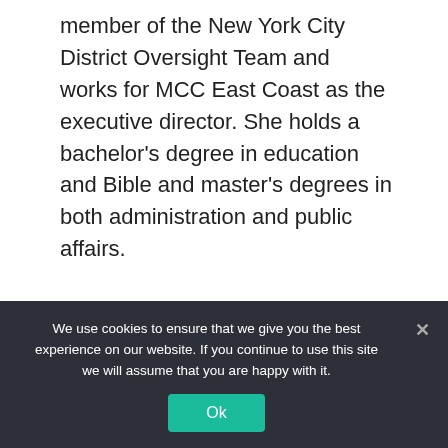member of the New York City District Oversight Team and works for MCC East Coast as the executive director. She holds a bachelor's degree in education and Bible and master's degrees in both administration and public affairs.
[Figure (photo): Circular portrait photo of a person wearing a yellow/gold head wrap and clear-framed glasses, with a warm beige background.]
We use cookies to ensure that we give you the best experience on our website. If you continue to use this site we will assume that you are happy with it.